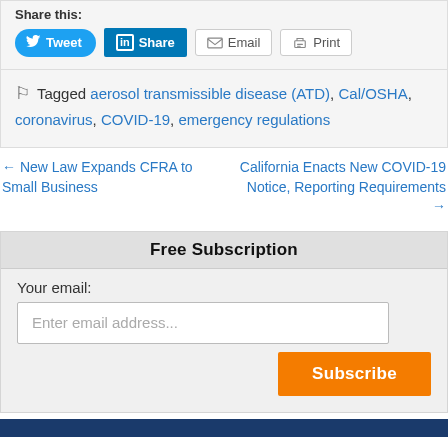Share this:
Tweet | Share | Email | Print
Tagged aerosol transmissible disease (ATD), Cal/OSHA, coronavirus, COVID-19, emergency regulations
← New Law Expands CFRA to Small Business
California Enacts New COVID-19 Notice, Reporting Requirements →
Free Subscription
Your email:
Enter email address...
Subscribe